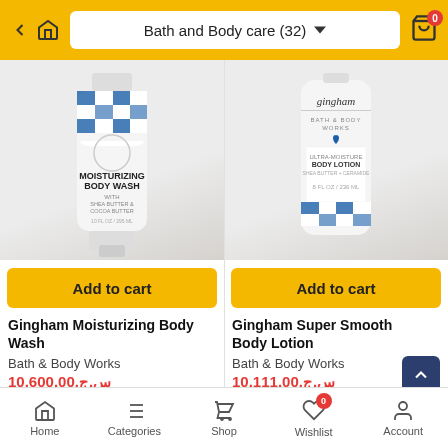Bath and Body care (32)
[Figure (photo): Gingham Moisturizing Body Wash product bottle with blue checkered pattern]
[Figure (photo): Gingham Super Smooth Body Lotion product bottle with gingham label]
Add to cart
Add to cart
Gingham Moisturizing Body Wash
Bath & Body Works
10,600.00.س.ج
Store: oreeed
Gingham Super Smooth Body Lotion
Bath & Body Works
10,111.00.س.ج
Store: oreeed
Home  Categories  Shop  Wishlist  Account